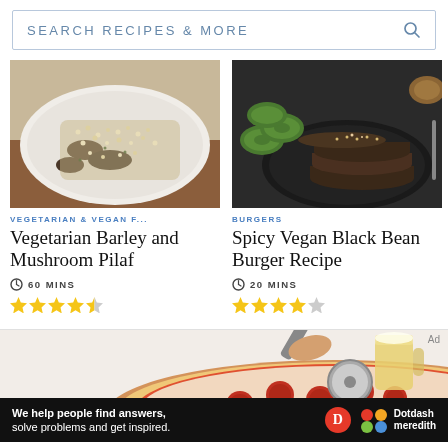[Figure (screenshot): Search bar with text SEARCH RECIPES & MORE and a search icon on the right]
[Figure (photo): Vegetarian barley and mushroom dish on a white plate]
VEGETARIAN & VEGAN F...
Vegetarian Barley and Mushroom Pilaf
60 MINS
[Figure (photo): Spicy vegan black bean burger patties stacked on a dark plate with cucumber slices]
BURGERS
Spicy Vegan Black Bean Burger Recipe
20 MINS
[Figure (illustration): Pizza with pepperoni and a pizza cutter illustration, plus a beer mug illustration on the right. Ad banner at bottom: We help people find answers, solve problems and get inspired. Dotdash Meredith logo.]